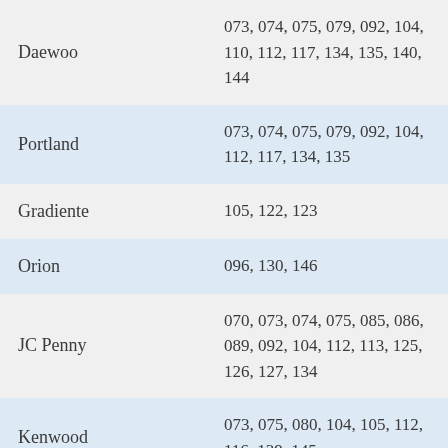| Brand | Codes |
| --- | --- |
| Daewoo | 073, 074, 075, 079, 092, 104, 110, 112, 117, 134, 135, 140, 144 |
| Portland | 073, 074, 075, 079, 092, 104, 112, 117, 134, 135 |
| Gradiente | 105, 122, 123 |
| Orion | 096, 130, 146 |
| JC Penny | 070, 073, 074, 075, 085, 086, 089, 092, 104, 112, 113, 125, 126, 127, 134 |
| Kenwood | 073, 075, 080, 104, 105, 112, 116, 139, 145 |
|  | 073, 075, 087, 105, 112 |